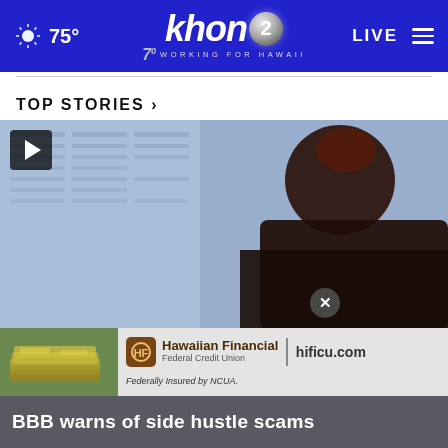khon2 — 75° — LIVE — Working for Hawaii — 70 years
TOP STORIES ›
[Figure (screenshot): Video thumbnail showing a person in silhouette in front of a computer screen with spreadsheet data. Play button visible in top-left corner.]
[Figure (photo): Advertisement banner for Hawaiian Financial Federal Credit Union — hificu.com — Federally insured by NCUA, with image of stacked cash on the left.]
BBB warns of side hustle scams